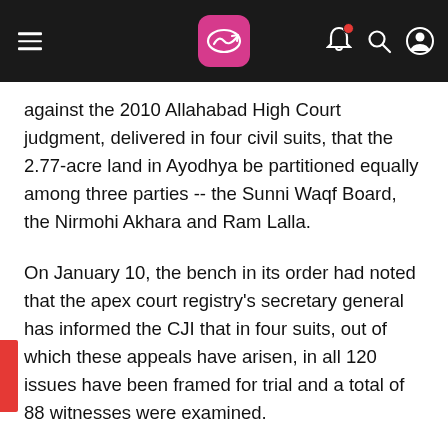Navigation bar with hamburger menu, logo, bell, search, and profile icons
against the 2010 Allahabad High Court judgment, delivered in four civil suits, that the 2.77-acre land in Ayodhya be partitioned equally among three parties -- the Sunni Waqf Board, the Nirmohi Akhara and Ram Lalla.
On January 10, the bench in its order had noted that the apex court registry's secretary general has informed the CJI that in four suits, out of which these appeals have arisen, in all 120 issues have been framed for trial and a total of 88 witnesses were examined.
It had noted that depositions of witnesses run into 13,886 pages and a total of 257 documents exhibited.